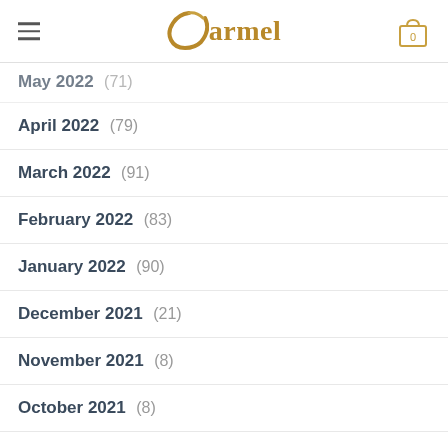Carmel
May 2022 (71)
April 2022 (79)
March 2022 (91)
February 2022 (83)
January 2022 (90)
December 2021 (21)
November 2021 (8)
October 2021 (8)
September 2021 (4)
August 2021 (4)
July 2021 (1)